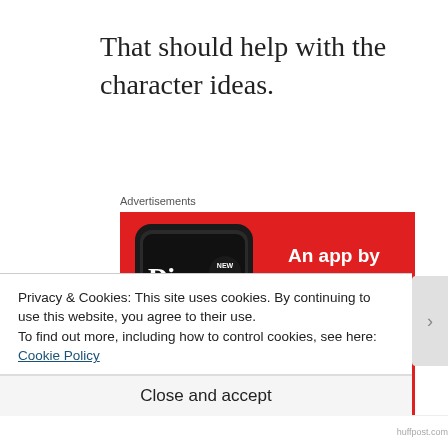That should help with the character ideas.
Advertisements
[Figure (infographic): Advertisement banner for a podcast app showing a smartphone with 'Distributed' text on screen and the tagline 'An app by listeners, for listeners.' with a 'Download now' button on a red background.]
Privacy & Cookies: This site uses cookies. By continuing to use this website, you agree to their use.
To find out more, including how to control cookies, see here: Cookie Policy
Close and accept